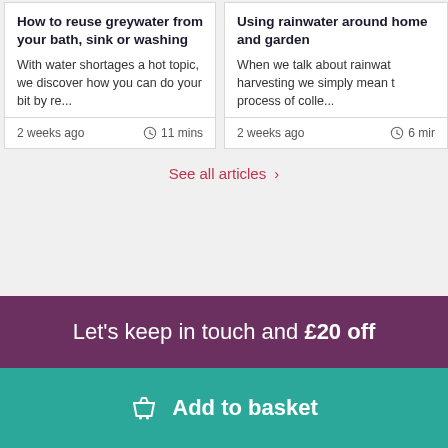How to reuse greywater from your bath, sink or washing
With water shortages a hot topic, we discover how you can do your bit by re...
2 weeks ago   11 mins
Using rainwater around home and garden
When we talk about rainwater harvesting we simply mean the process of colle...
2 weeks ago   6 min
See all articles ›
Let's keep in touch and £20 off
Add to basket